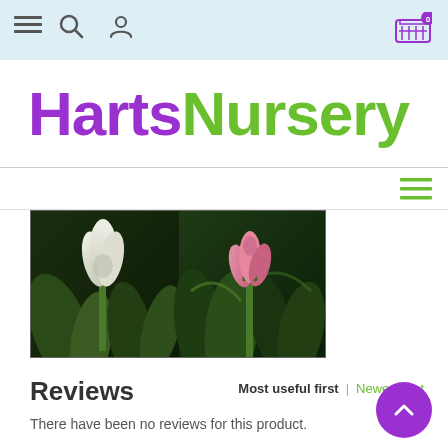HartsNursery navigation bar with menu, search, profile icons and cart (0 items)
HartsNursery
[Figure (photo): Two tulip flower close-ups side by side: white tulip on the left, pink tulip bud on the right, against dark green foliage]
Reviews
Most useful first | Newest first
There have been no reviews for this product.
Add your own review